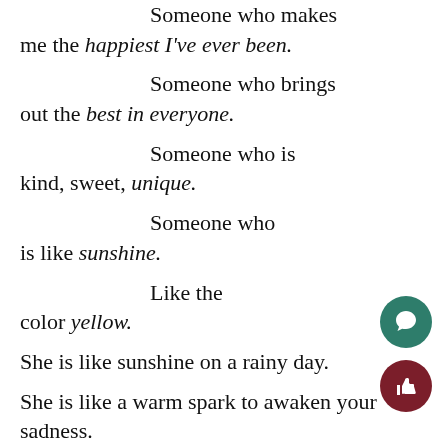Someone who makes me the happiest I've ever been.
Someone who brings out the best in everyone.
Someone who is kind, sweet, unique.
Someone who is like sunshine.
Like the color yellow.
She is like sunshine on a rainy day.
She is like a warm spark to awaken your sadness.